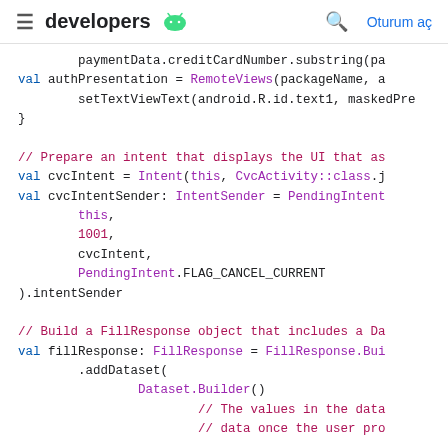≡ developers 🤖  🔍 Oturum aç
Code snippet showing Android autofill Kotlin code including paymentData, authPresentation, cvcIntent, cvcIntentSender, and fillResponse builder patterns